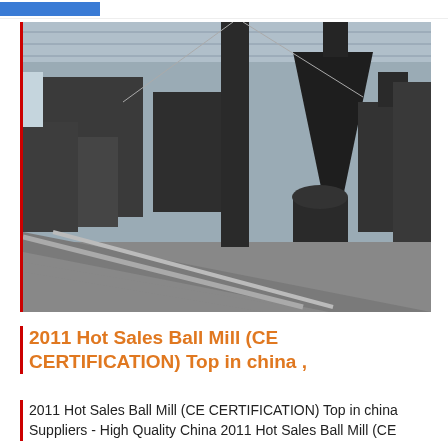[Figure (photo): Industrial ball mill facility interior showing large dark metal machinery including cyclone separators, hoppers, structural steel columns, and conveyor equipment inside a warehouse with metal roof trusses.]
2011 Hot Sales Ball Mill (CE CERTIFICATION) Top in china ,
2011 Hot Sales Ball Mill (CE CERTIFICATION) Top in china Suppliers - High Quality China 2011 Hot Sales Ball Mill (CE